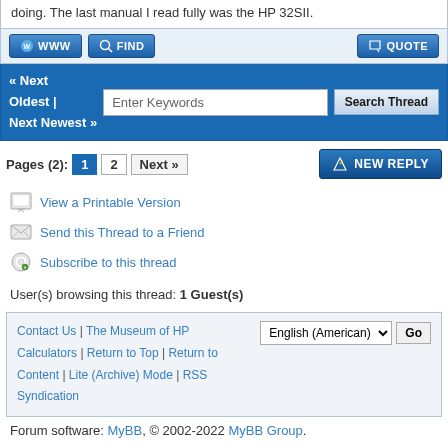doing. The last manual I read fully was the HP 32SII.
« Next Oldest | Next Newest »  [search bar]  Search Thread
Pages (2): 1 2 Next »   NEW REPLY
View a Printable Version
Send this Thread to a Friend
Subscribe to this thread
User(s) browsing this thread: 1 Guest(s)
Contact Us | The Museum of HP Calculators | Return to Top | Return to Content | Lite (Archive) Mode | RSS Syndication   [English (American) dropdown] Go
Forum software: MyBB, © 2002-2022 MyBB Group.